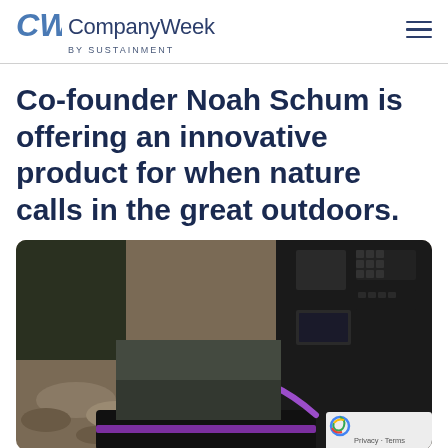CompanyWeek by SUSTAINMENT
Co-founder Noah Schum is offering an innovative product for when nature calls in the great outdoors.
[Figure (photo): Outdoor photo showing camping/outdoor equipment including a purple-handled portable item and electronic device on rocky ground, with a person in the background.]